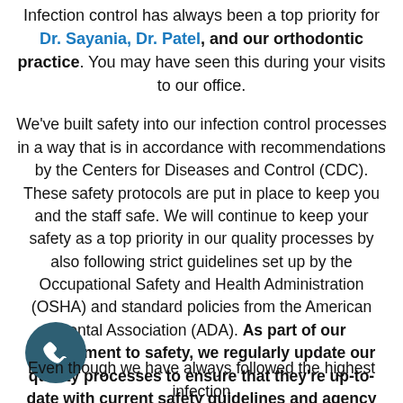Infection control has always been a top priority for Dr. Sayania, Dr. Patel, and our orthodontic practice. You may have seen this during your visits to our office.
We've built safety into our infection control processes in a way that is in accordance with recommendations by the Centers for Diseases and Control (CDC). These safety protocols are put in place to keep you and the staff safe. We will continue to keep your safety as a top priority in our quality processes by also following strict guidelines set up by the Occupational Safety and Health Administration (OSHA) and standard policies from the American Dental Association (ADA). As part of our commitment to safety, we regularly update our quality processes to ensure that they're up-to-date with current safety guidelines and agency recommendations.
[Figure (illustration): Dark teal circular phone icon with a white telephone handset symbol]
Even though we have always followed the highest infection